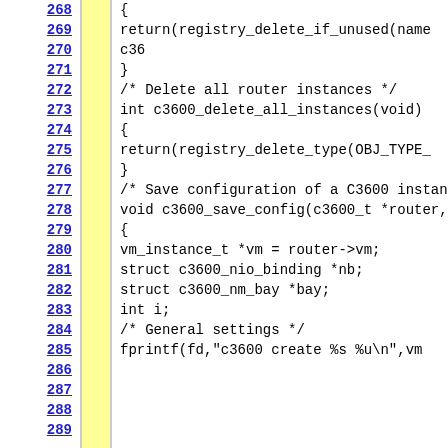[Figure (screenshot): Source code viewer showing C code lines 268-289. Left column has yellow highlight bar and line numbers in blue underlined. Code shows functions including registry_delete_if_unused, c3600_delete_all_instances, and c3600_save_config with local variable declarations and fprintf calls.]